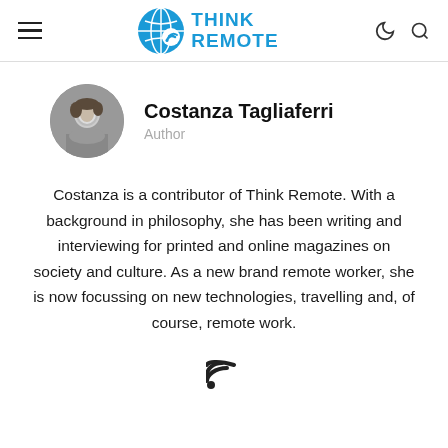Think Remote
Costanza Tagliaferri
Author
Costanza is a contributor of Think Remote. With a background in philosophy, she has been writing and interviewing for printed and online magazines on society and culture. As a new brand remote worker, she is now focussing on new technologies, travelling and, of course, remote work.
[Figure (illustration): RSS feed icon]